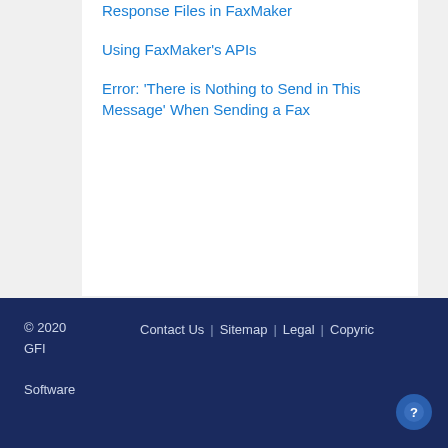Response Files in FaxMaker
Using FaxMaker's APIs
Error: 'There is Nothing to Send in This Message' When Sending a Fax
© 2020 GFI Software   Contact Us | Sitemap | Legal | Copyright